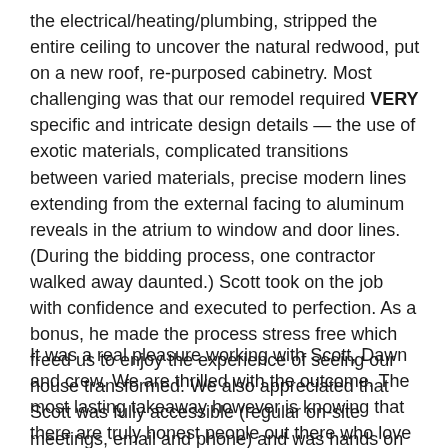the electrical/heating/plumbing, stripped the entire ceiling to uncover the natural redwood, put on a new roof, repurposed cabinetry. Most challenging was that our remodel required VERY specific and intricate design details — the use of exotic materials, complicated transitions between varied materials, precise modern lines extending from the external facing to aluminum reveals in the atrium to window and door lines. (During the bidding process, one contractor walked away daunted.) Scott took on the job with confidence and executed to perfection. As a bonus, he made the process stress free which freed us to enjoy the experience of seeing our house transformed. We also appreciated that Scott was fully accessible (regular on-site meetings, email and phone) and was hands on — not just tied to a clipboard but with tools and work boots at hand. And, never did we feel that we were being nickled and dimed.
It was a real pleasure working with Scott, Dawn and crew. We are thrilled with the outcome. The most lasting takeaway however is knowing that there are truly honest people out there who love what they do."